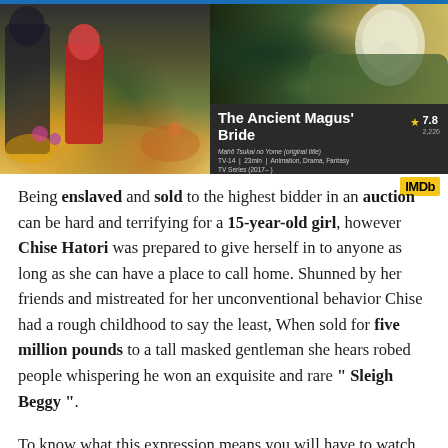[Figure (screenshot): IMDb listing screenshot for 'The Ancient Magus' Bride' anime TV series. Shows anime artwork on left (girl in red dress in colorful garden) and top-right (masked figure in green). IMDb info bar shows title, rating 7.8, original title 'Mahō Tsukai no Yome', TV-14, 23min, Animation/Drama/Fantasy, TV Series (2017–).]
Being enslaved and sold to the highest bidder in an auction can be hard and terrifying for a 15-year-old girl, however Chise Hatori was prepared to give herself in to anyone as long as she can have a place to call home. Shunned by her friends and mistreated for her unconventional behavior Chise had a rough childhood to say the least, When sold for five million pounds to a tall masked gentleman she hears robed people whispering he won an exquisite and rare " Sleigh Beggy ".
To know what this expression means you will have to watch